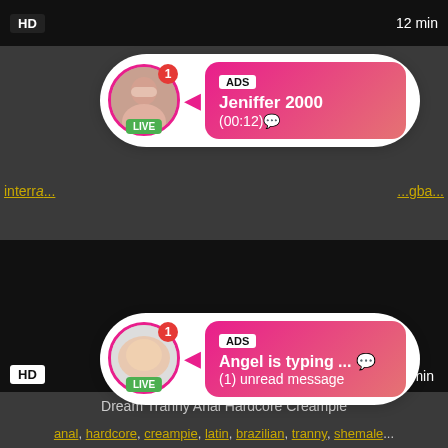[Figure (screenshot): Top video strip with HD badge and 12 min label on black background]
interr... ...gba...
[Figure (infographic): Ad popup 1: Jeniffer 2000 live chat notification with avatar, ADS tag, name and (00:12) timestamp]
[Figure (screenshot): Middle black video area strip with HD badge and 8 min label]
[Figure (infographic): Ad popup 2: Angel is typing... live chat notification with avatar, ADS tag, and (1) unread message]
Dream Tranny Anal Hardcore Creampie
anal, hardcore, creampie, latin, brazilian, tranny, shemale...
[Figure (screenshot): Bottom black video thumbnail strip]